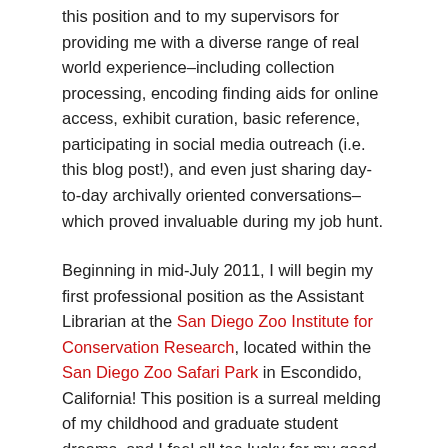this position and to my supervisors for providing me with a diverse range of real world experience–including collection processing, encoding finding aids for online access, exhibit curation, basic reference, participating in social media outreach (i.e. this blog post!), and even just sharing day-to-day archivally oriented conversations–which proved invaluable during my job hunt.
Beginning in mid-July 2011, I will begin my first professional position as the Assistant Librarian at the San Diego Zoo Institute for Conservation Research, located within the San Diego Zoo Safari Park in Escondido, California! This position is a surreal melding of my childhood and graduate student dreams, and I feel all too lucky for my good fortune. I could not be more excited about this opportunity, where I will have a diverse range of responsibilities including but not limited to: maintaining, preserving, organizing, and promoting access to the library's archival and rare book collection, pursuing digital access and preservation efforts, exploring outreach opportunities, and